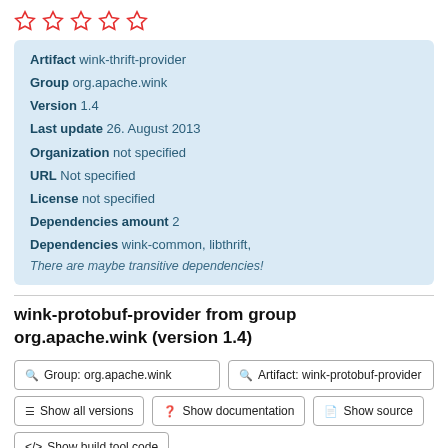[Figure (other): Five empty star rating icons in red outline]
| Artifact | wink-thrift-provider |
| Group | org.apache.wink |
| Version | 1.4 |
| Last update | 26. August 2013 |
| Organization | not specified |
| URL | Not specified |
| License | not specified |
| Dependencies amount | 2 |
| Dependencies | wink-common, libthrift, |
There are maybe transitive dependencies!
wink-protobuf-provider from group org.apache.wink (version 1.4)
Group: org.apache.wink
Artifact: wink-protobuf-provider
Show all versions
Show documentation
Show source
Show build tool code
Download wink-protobuf-provider.jar (1.4)
Add to Project